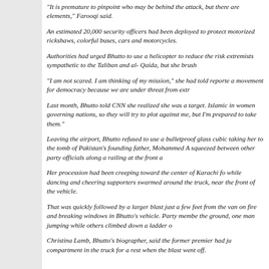"It is premature to pinpoint who may be behind the attack, but there are elements," Farooqi said.
An estimated 20,000 security officers had been deployed to protect motorized rickshaws, colorful buses, cars and motorcycles.
Authorities had urged Bhutto to use a helicopter to reduce the risk extremists sympathetic to the Taliban and al- Qaida, but she brush
"I am not scared. I am thinking of my mission," she had told reporte a movement for democracy because we are under threat from extr
Last month, Bhutto told CNN she realized she was a target. Islamic in women governing nations, so they will try to plot against me, but I'm prepared to take them."
Leaving the airport, Bhutto refused to use a bulletproof glass cubic taking her to the tomb of Pakistan's founding father, Mohammed A squeezed between other party officials along a railing at the front a
Her procession had been creeping toward the center of Karachi fo while dancing and cheering supporters swarmed around the truck, near the front of the vehicle.
That was quickly followed by a larger blast just a few feet from the van on fire and breaking windows in Bhutto's vehicle. Party membe the ground, one man jumping while others climbed down a ladder o
Christina Lamb, Bhutto's biographer, said the former premier had ju compartment in the truck for a rest when the blast went off.